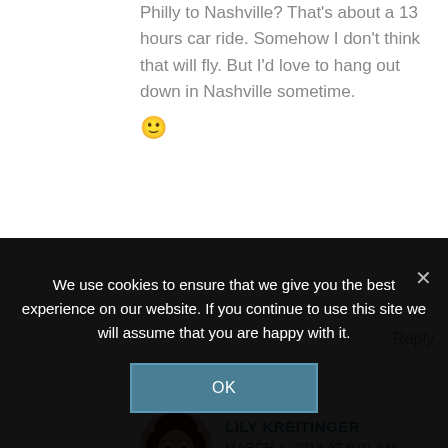Philly to Nashville? That's about a 13 hours car ride. Somehow I don't think that will fly. But I'd love to hang out down in Nashville sometime. 🙂
Reply
[Figure (photo): Circular avatar photo of Lily Kreitinger, a young woman smiling]
LILY KREITINGER
MARCH 1, 2013 AT 9:01 AM
We use cookies to ensure that we give you the best experience on our website. If you continue to use this site we will assume that you are happy with it.
OK